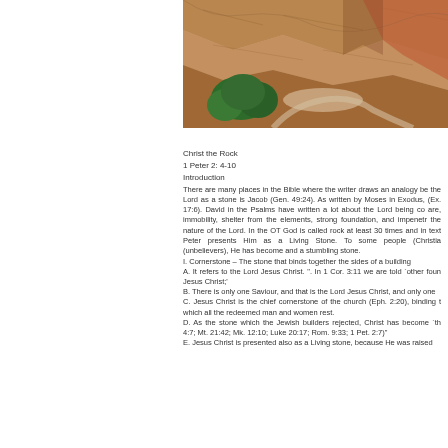[Figure (photo): Aerial or elevated photograph of a rocky canyon or cliff landscape with brown and orange rock formations, a winding path or dry riverbed, and green trees in the lower left portion.]
Christ the Rock
1 Peter 2: 4-10
Introduction
There are many places in the Bible where the writer draws an analogy be the Lord as a stone is Jacob (Gen. 49:24). As written by Moses in Exodus, (Ex. 17:6). David in the Psalms have written a lot about the Lord being co are, immobility, shelter from the elements, strong foundation, and impenetr the nature of the Lord. In the OT God is called rock at least 30 times and in text Peter presents Him as a Living Stone. To some people (Christia (unbelievers), He has become and a stumbling stone.
I. Cornerstone – The stone that binds together the sides of a building
A. It refers to the Lord Jesus Christ. ". In 1 Cor. 3:11 we are told `other foun Jesus Christ;'
B. There is only one Saviour, and that is the Lord Jesus Christ, and only one
C. Jesus Christ is the chief cornerstone of the church (Eph. 2:20), binding t which all the redeemed man and women rest.
D. As the stone which the Jewish builders rejected, Christ has become `th 4:7; Mt. 21:42; Mk. 12:10; Luke 20:17; Rom. 9:33; 1 Pet. 2:7)"
E. Jesus Christ is presented also as a Living stone, because He was raised